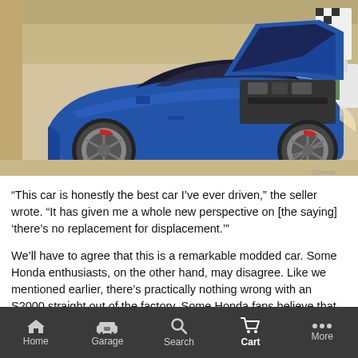[Figure (photo): A blue Honda S2000 sports car with the hood open, displayed indoors on a light-colored floor. The car has aftermarket wheels and appears to be at a car show or dealership.]
“This car is honestly the best car I’ve ever driven,” the seller wrote. “It has given me a whole new perspective on [the saying] ‘there’s no replacement for displacement.’”
We’ll have to agree that this is a remarkable modded car. Some Honda enthusiasts, on the other hand, may disagree. Like we mentioned earlier, there’s practically nothing wrong with an S2000 straight out of the factory. Some Honda fans believe that taking apart an already finely-engineered S2000 is a crime against humanity, if it ain’t broke, don’t fix it, right?
Home  Garage  Search  Cart  More